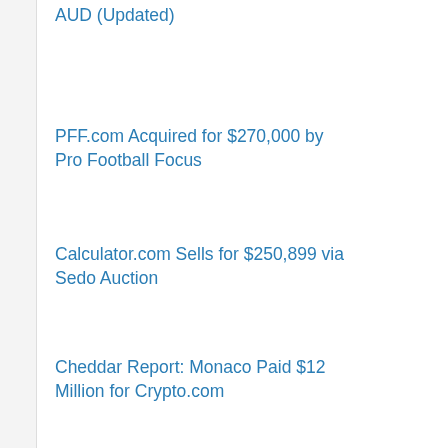AUD (Updated)
PFF.com Acquired for $270,000 by Pro Football Focus
Calculator.com Sells for $250,899 via Sedo Auction
Cheddar Report: Monaco Paid $12 Million for Crypto.com
BitcoinCash.org Sold for Nearly $50k, Already Developed